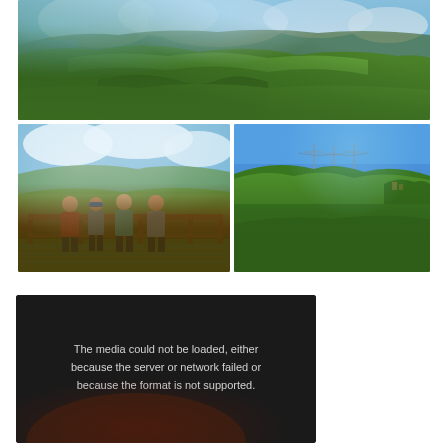[Figure (photo): Panoramic landscape photo showing green mountain ridges and valley with blue sky and clouds in Hawaii]
[Figure (photo): Group photo of four people standing on a wooden deck/railing with mountain and cloudy sky background]
[Figure (photo): Landscape photo of green hills and ridges under a blue sky]
[Figure (other): Video player with dark background showing media error message: 'The media could not be loaded, either because the server or network failed or because the format is not supported.']